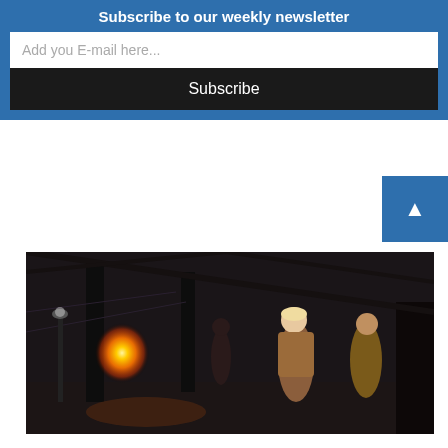Subscribe to our weekly newsletter
Add you E-mail here...
Subscribe
[Figure (photo): A scene from Super 8 movie showing a girl in the foreground running or startled, with a large explosion or fire in the background inside a dark industrial building, other characters visible in the scene.]
J.J. Abrams channels Steven Spielberg for 'Super 8' on HBO Max...